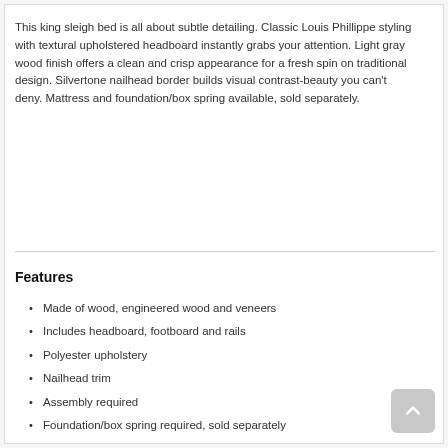This king sleigh bed is all about subtle detailing. Classic Louis Phillippe styling with textural upholstered headboard instantly grabs your attention. Light gray wood finish offers a clean and crisp appearance for a fresh spin on traditional design. Silvertone nailhead border builds visual contrast-beauty you can't deny. Mattress and foundation/box spring available, sold separately.
Features
Made of wood, engineered wood and veneers
Includes headboard, footboard and rails
Polyester upholstery
Nailhead trim
Assembly required
Foundation/box spring required, sold separately
Mattress available, sold separately